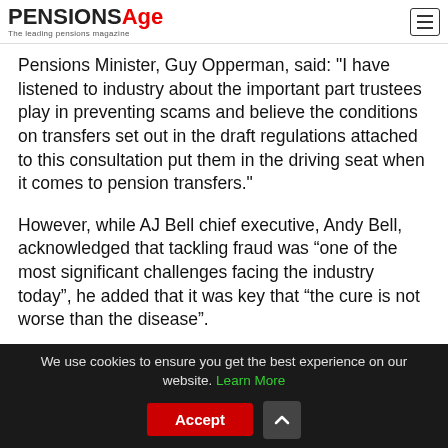PensionsAge — The leading pensions magazine
Pensions Minister, Guy Opperman, said: "I have listened to industry about the important part trustees play in preventing scams and believe the conditions on transfers set out in the draft regulations attached to this consultation put them in the driving seat when it comes to pension transfers."
However, while AJ Bell chief executive, Andy Bell, acknowledged that tackling fraud was “one of the most significant challenges facing the industry today”, he added that it was key that “the cure is not worse than the disease”.
We use cookies to ensure you get the best experience on our website. Learn More  Accept